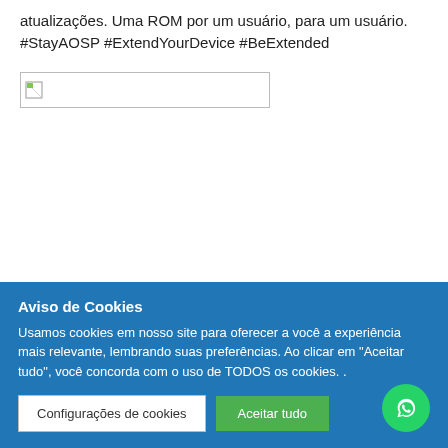atualizações. Uma ROM por um usuário, para um usuário. #StayAOSP #ExtendYourDevice #BeExtended
[Figure (other): Broken image placeholder with small icon, white background, gray border]
Aviso de Cookies
Usamos cookies em nosso site para oferecer a você a experiência mais relevante, lembrando suas preferências. Ao clicar em "Aceitar tudo", você concorda com o uso de TODOS os cookies. .
Configurações de cookies | Aceitar tudo